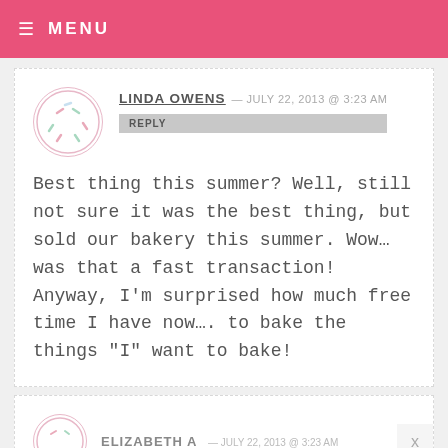MENU
LINDA OWENS — JULY 22, 2013 @ 3:23 AM
REPLY
Best thing this summer? Well, still not sure it was the best thing, but sold our bakery this summer. Wow... was that a fast transaction! Anyway, I'm surprised how much free time I have now.... to bake the things "I" want to bake!
ELIZABETH A — JULY 22, 2013 @ 3:23 AM